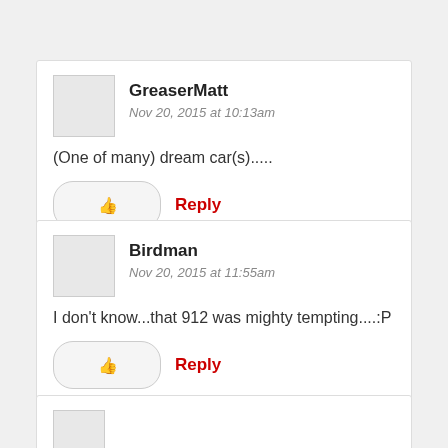GreaserMatt
Nov 20, 2015 at 10:13am
(One of many) dream car(s).....
Reply
Birdman
Nov 20, 2015 at 11:55am
I don't know...that 912 was mighty tempting....:P
Reply